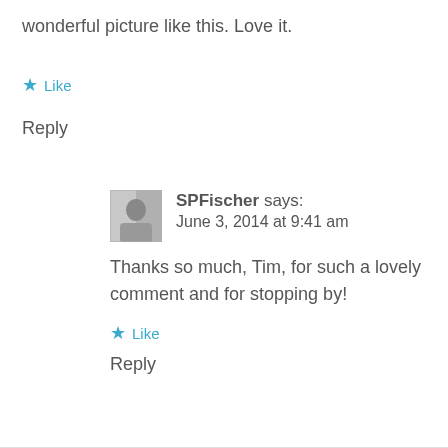wonderful picture like this. Love it.
★ Like
Reply
SPFischer says:
June 3, 2014 at 9:41 am
Thanks so much, Tim, for such a lovely comment and for stopping by!
★ Like
Reply